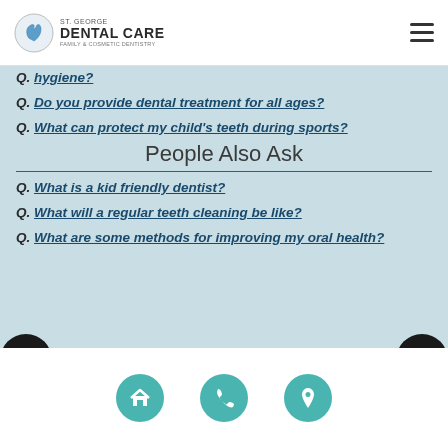St. George Dental Care - Family & Cosmetic Dentistry
Q. hygiene?
Q. Do you provide dental treatment for all ages?
Q. What can protect my child's teeth during sports?
People Also Ask
Q. What is a kid friendly dentist?
Q. What will a regular teeth cleaning be like?
Q. What are some methods for improving my oral health?